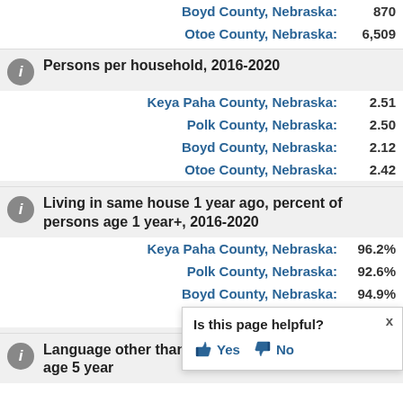Boyd County, Nebraska: 870
Otoe County, Nebraska: 6,509
Persons per household, 2016-2020
Keya Paha County, Nebraska: 2.51
Polk County, Nebraska: 2.50
Boyd County, Nebraska: 2.12
Otoe County, Nebraska: 2.42
Living in same house 1 year ago, percent of persons age 1 year+, 2016-2020
Keya Paha County, Nebraska: 96.2%
Polk County, Nebraska: 92.6%
Boyd County, Nebraska: 94.9%
Otoe County, Nebraska: 88.7%
Language other than English percent of persons age 5 year